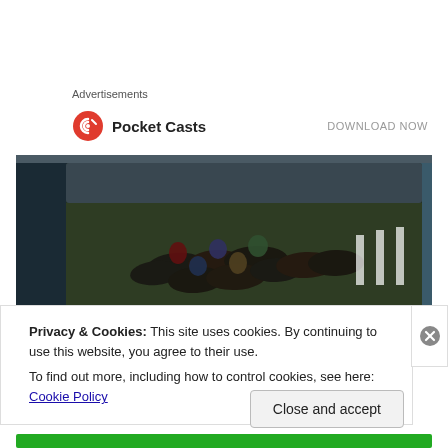Advertisements
[Figure (logo): Pocket Casts logo with red circular icon and bold text 'Pocket Casts', with 'DOWNLOAD NOW' on the right]
[Figure (photo): A horse racing scene displayed on a curved TV screen mounted on a wall, showing jockeys and horses racing on a track]
Privacy & Cookies: This site uses cookies. By continuing to use this website, you agree to their use.
To find out more, including how to control cookies, see here: Cookie Policy
Close and accept